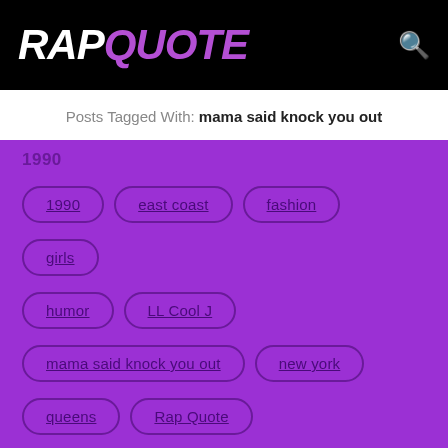RAPQUOTE
Posts Tagged With: mama said knock you out
1990
1990
east coast
fashion
girls
humor
LL Cool J
mama said knock you out
new york
queens
Rap Quote